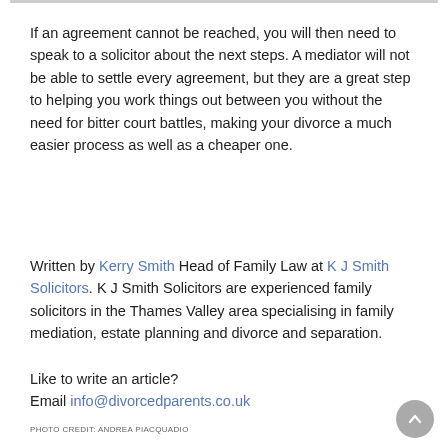If an agreement cannot be reached, you will then need to speak to a solicitor about the next steps. A mediator will not be able to settle every agreement, but they are a great step to helping you work things out between you without the need for bitter court battles, making your divorce a much easier process as well as a cheaper one.
Written by Kerry Smith Head of Family Law at K J Smith Solicitors. K J Smith Solicitors are experienced family solicitors in the Thames Valley area specialising in family mediation, estate planning and divorce and separation.
Like to write an article?
Email info@divorcedparents.co.uk
PHOTO CREDIT: ANDREA PIACQUADIO